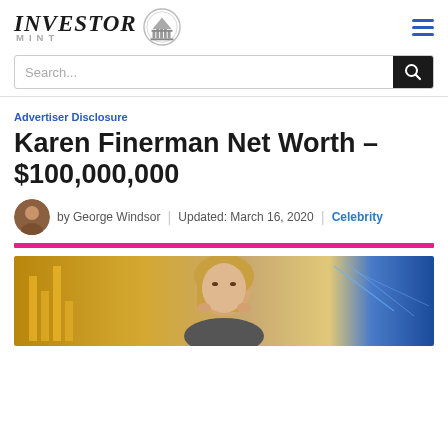INVESTOR MINT
Search...
Advertiser Disclosure
Karen Finerman Net Worth – $100,000,000
by George Windsor | Updated: March 16, 2020 | Celebrity
[Figure (photo): Photo of Karen Finerman, a blonde woman with hands near her face, with financial chart graphics in the background]